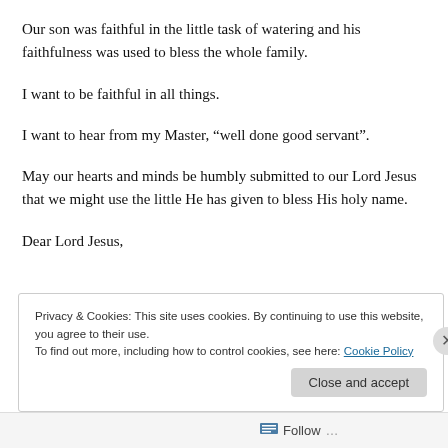Our son was faithful in the little task of watering and his faithfulness was used to bless the whole family.
I want to be faithful in all things.
I want to hear from my Master, “well done good servant”.
May our hearts and minds be humbly submitted to our Lord Jesus that we might use the little He has given to bless His holy name.
Dear Lord Jesus,
Privacy & Cookies: This site uses cookies. By continuing to use this website, you agree to their use.
To find out more, including how to control cookies, see here: Cookie Policy
Follow ...